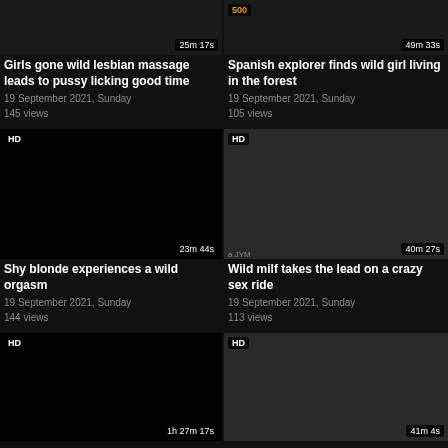[Figure (screenshot): Video thumbnail grid row 1 left - Girls gone wild lesbian massage]
Girls gone wild lesbian massage leads to pussy licking good time
19 September 2021, Sunday
145 views
[Figure (screenshot): Video thumbnail grid row 1 right - Spanish explorer finds wild girl living in the forest]
Spanish explorer finds wild girl living in the forest
19 September 2021, Sunday
105 views
[Figure (screenshot): Video thumbnail grid row 2 left - Shy blonde experiences a wild orgasm, HD, 23m 44s]
Shy blonde experiences a wild orgasm
19 September 2021, Sunday
144 views
[Figure (screenshot): Video thumbnail grid row 2 right - Wild milf takes the lead on a crazy sex ride, HD, 40m 27s]
Wild milf takes the lead on a crazy sex ride
19 September 2021, Sunday
113 views
[Figure (screenshot): Video thumbnail grid row 3 left - HD, 1h 27m 17s]
[Figure (screenshot): Video thumbnail grid row 3 right - HD, 41m 4s]